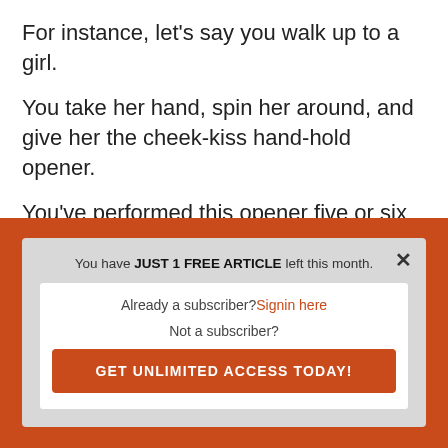For instance, let's say you walk up to a girl.
You take her hand, spin her around, and give her the cheek-kiss hand-hold opener.
You've performed this opener five or six times and it's always gone fine or well.
This time, however, the girl flips out: "You can't
You have JUST 1 FREE ARTICLE left this month.
Already a subscriber? Signin here
Not a subscriber?
GET UNLIMITED ACCESS TODAY!